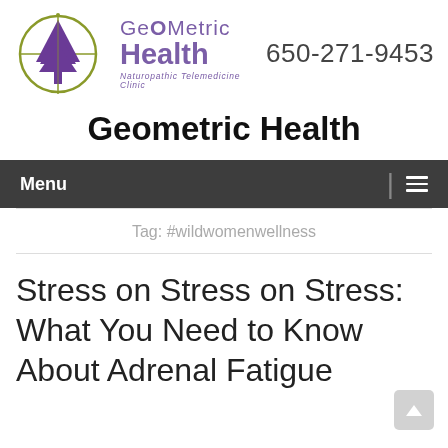[Figure (logo): GeOMetric Health logo — purple tree inside olive/yellow-green circle with crosshair lines, with stylized text 'GeOMetric Health' in purple and tagline 'Naturopathic Telemedicine Clinic', phone number 650-271-9453]
Geometric Health
Menu
Tag: #wildwomenwellness
Stress on Stress on Stress: What You Need to Know About Adrenal Fatigue